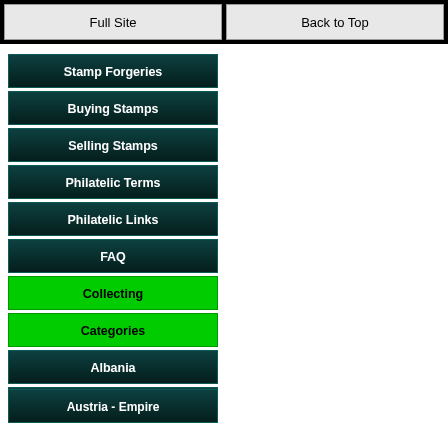Full Site
Back to Top
Stamp Forgeries
Buying Stamps
Selling Stamps
Philatelic Terms
Philatelic Links
FAQ
Collecting
Categories
Albania
Andorra
Austria - Empire
Austria - 1st. Rep.
Austria - 2nd. Rep.
Belgium
British N. America